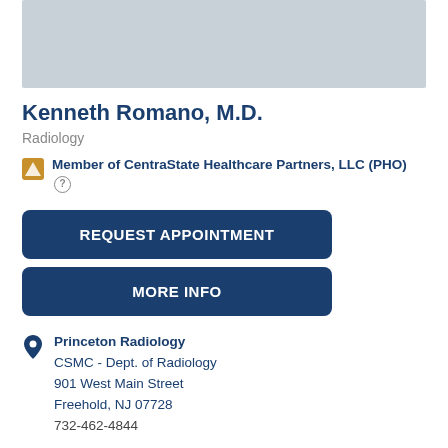[Figure (photo): Gray placeholder photo area for doctor profile image]
Kenneth Romano, M.D.
Radiology
Member of CentraState Healthcare Partners, LLC (PHO)
REQUEST APPOINTMENT
MORE INFO
Princeton Radiology
CSMC - Dept. of Radiology
901 West Main Street
Freehold, NJ 07728
732-462-4844
Princeton Radiology